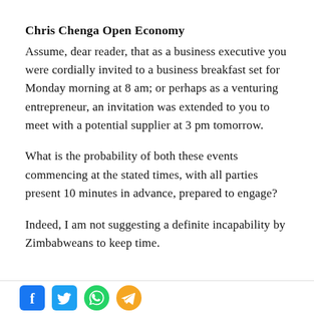Chris Chenga Open Economy
Assume, dear reader, that as a business executive you were cordially invited to a business breakfast set for Monday morning at 8 am; or perhaps as a venturing entrepreneur, an invitation was extended to you to meet with a potential supplier at 3 pm tomorrow.
What is the probability of both these events commencing at the stated times, with all parties present 10 minutes in advance, prepared to engage?
Indeed, I am not suggesting a definite incapability by Zimbabweans to keep time.
Social share icons: Facebook, Twitter, WhatsApp, Telegram